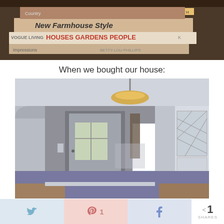[Figure (photo): Stack of books on a dark wooden surface including 'New Farmhouse Style', 'Vogue Living Houses Gardens People', and other design books]
When we bought our house:
[Figure (photo): Interior photo of a house entryway/living room when first purchased, showing a front door with stained glass window, a window with curtains, white walls, blue carpet, and a built-in cabinet with diamond-pane glass doors on the right]
[Figure (infographic): Social sharing bar with Twitter, Pinterest (1 share), Facebook buttons and a total share count of 1]